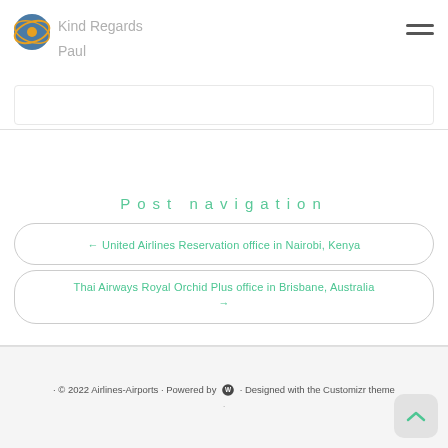Kind Regards
Paul
Post navigation
← United Airlines Reservation office in Nairobi, Kenya
Thai Airways Royal Orchid Plus office in Brisbane, Australia →
· © 2022 Airlines-Airports · Powered by [WP] · Designed with the Customizr theme